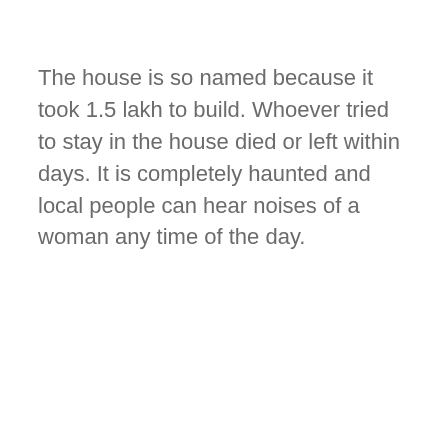The house is so named because it took 1.5 lakh to build. Whoever tried to stay in the house died or left within days. It is completely haunted and local people can hear noises of a woman any time of the day.